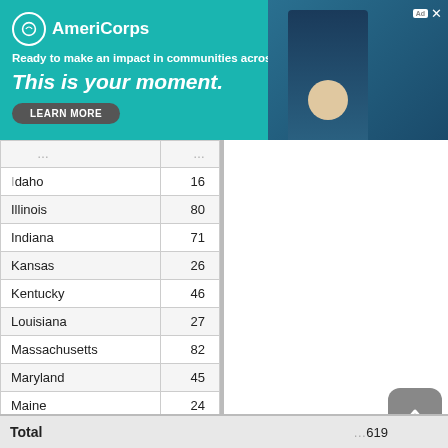[Figure (other): AmeriCorps advertisement banner: teal background, 'Ready to make an impact in communities across the country? This is your moment.' with LEARN MORE button and photo of person]
| State | Count |
| --- | --- |
| Idaho | 16 |
| Illinois | 80 |
| Indiana | 71 |
| Kansas | 26 |
| Kentucky | 46 |
| Louisiana | 27 |
| Massachusetts | 82 |
| Maryland | 45 |
| Maine | 24 |
| Michigan | 98 |
| Minnesota | 56 |
| Missouri | 52 |
| Mississippi | 14 |
| State | Count |
| --- | --- |
| Rhode Island | 8 |
| South Carolina | 35 |
| South Dakota | 10 |
| Tennessee | 69 |
| Texas | 142 |
| Utah | 21 |
| Virginia | 57 |
| Vermont | 17 |
| Washington | 78 |
| Wisconsin | 89 |
| West Virginia | 26 |
| Wyoming | 17 |
| International | 3 |
Total  ...619